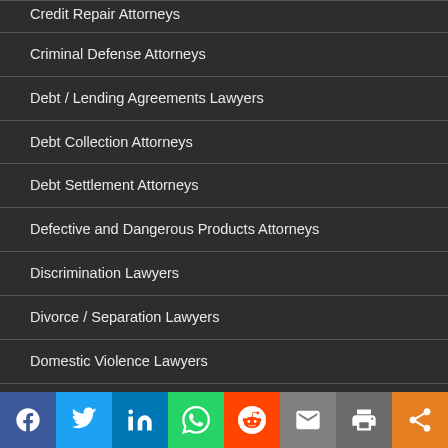Credit Repair Attorneys
Criminal Defense Attorneys
Debt / Lending Agreements Lawyers
Debt Collection Attorneys
Debt Settlement Attorneys
Defective and Dangerous Products Attorneys
Discrimination Lawyers
Divorce / Separation Lawyers
Domestic Violence Lawyers
DUI / DWI Attorneys
Education Law Attorneys